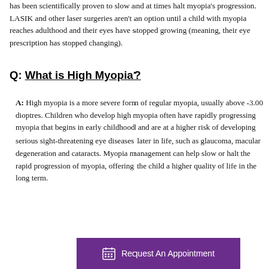has been scientifically proven to slow and at times halt myopia's progression. LASIK and other laser surgeries aren't an option until a child with myopia reaches adulthood and their eyes have stopped growing (meaning, their eye prescription has stopped changing).
Q: What is High Myopia?
A: High myopia is a more severe form of regular myopia, usually above -3.00 dioptres. Children who develop high myopia often have rapidly progressing myopia that begins in early childhood and are at a higher risk of developing serious sight-threatening eye diseases later in life, such as glaucoma, macular degeneration and cataracts. Myopia management can help slow or halt the rapid progression of myopia, offering the child a higher quality of life in the long term.
[Figure (other): Purple button with calendar icon reading 'Request An Appointment']